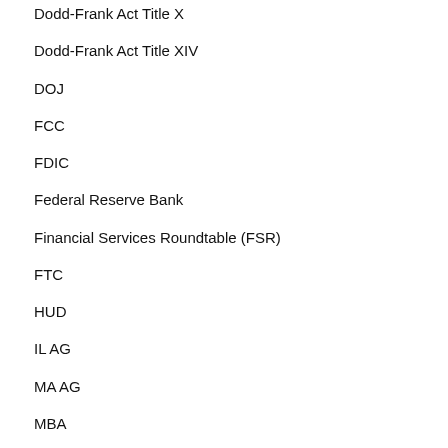Dodd-Frank Act Title X
Dodd-Frank Act Title XIV
DOJ
FCC
FDIC
Federal Reserve Bank
Financial Services Roundtable (FSR)
FTC
HUD
IL AG
MA AG
MBA
National Association of Attorneys General (NAAG)